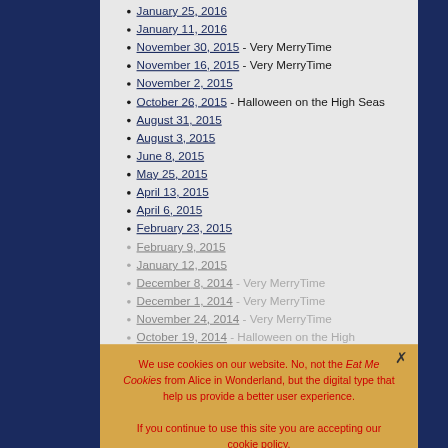January 25, 2016
January 11, 2016
November 30, 2015 - Very MerryTime
November 16, 2015 - Very MerryTime
November 2, 2015
October 26, 2015 - Halloween on the High Seas
August 31, 2015
August 3, 2015
June 8, 2015
May 25, 2015
April 13, 2015
April 6, 2015
February 23, 2015
February 9, 2015
January 12, 2015
December 8, 2014 - Very MerryTime
December 1, 2014 - Very MerryTime
November 24, 2014 - Very MerryTime
October 19, 2014 - Halloween on the High
We use cookies on our website. No, not the Eat Me Cookies from Alice in Wonderland, but the digital type that help us provide a better user experience. If you continue to use this site you are accepting our cookie policy. Accept Read more